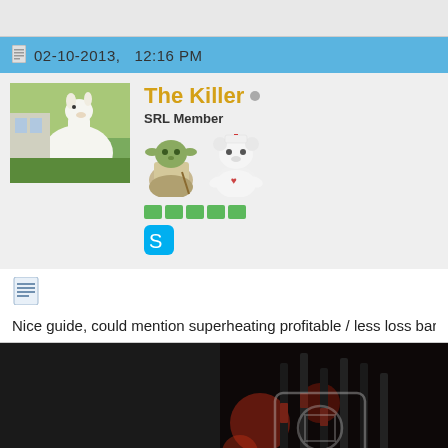02-10-2013,   12:16 PM
The Killer
SRL Member
[Figure (photo): Forum post layout showing user profile with llama avatar, username 'The Killer', SRL Member badge, Yoda and bear icons, green reputation blocks, Skype icon]
Nice guide, could mention superheating profitable / less loss bars. Since
[Figure (photo): Dark industrial/mechanical image with red lighting, appears to be machinery or weapons, watermarked with camera/copyright symbol]